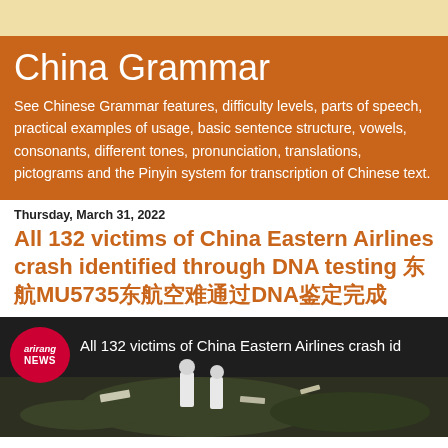China Grammar
See Chinese Grammar features, difficulty levels, parts of speech, practical examples of usage, basic sentence structure, vowels, consonants, different tones, pronunciation, translations, pictograms and the Pinyin system for transcription of Chinese text.
Thursday, March 31, 2022
All 132 victims of China Eastern Airlines crash identified through DNA testing 东航MU5735东航空难通过DNA鉴定完成
[Figure (screenshot): Arirang News video thumbnail showing investigators at China Eastern Airlines crash site with text overlay: All 132 victims of China Eastern Airlines crash id...]